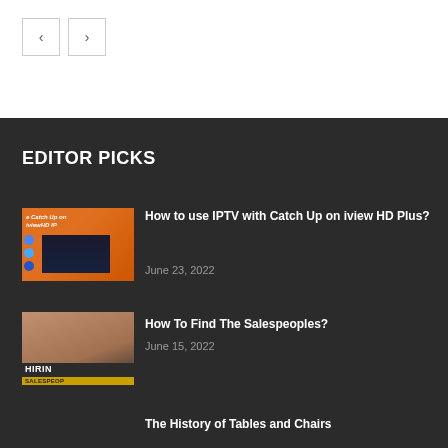[Figure (screenshot): Navigation buttons with left and right arrows]
EDITOR PICKS
[Figure (photo): IPTV Catch Up on iview HD Plus thumbnail with orange background and TV screen]
How to use IPTV with Catch Up on iview HD Plus?
June 23, 2022
[Figure (photo): Hiring Salespeoples image with people in background and yellow banner]
How To Find The Salespeoples?
June 15, 2022
The History of Tables and Chairs